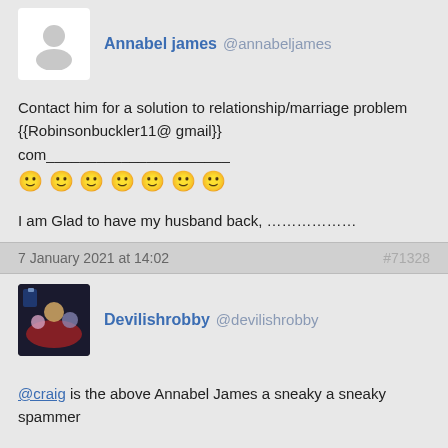Annabel james @annabeljames
Contact him for a solution to relationship/marriage problem {{Robinsonbuckler11@ gmail}} com________________________ 🙂 🙂 🙂 🙂 🙂 🙂 🙂
I am Glad to have my husband back, ………………
7 January 2021 at 14:02   #71328
Devilishrobby @devilishrobby
@craig is the above Annabel James a sneaky a sneaky spammer